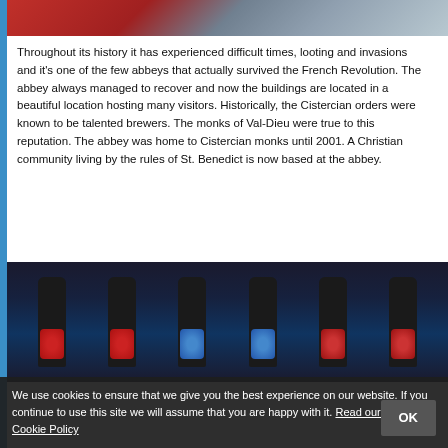[Figure (photo): Partial top image of what appears to be an outdoor scene, cropped at top of page]
Throughout its history it has experienced difficult times, looting and invasions and it's one of the few abbeys that actually survived the French Revolution. The abbey always managed to recover and now the buildings are located in a beautiful location hosting many visitors. Historically, the Cistercian orders were known to be talented brewers. The monks of Val-Dieu were true to this reputation. The abbey was home to Cistercian monks until 2001. A Christian community living by the rules of St. Benedict is now based at the abbey.
[Figure (photo): Photo of beer bottles from Val-Dieu abbey, showing bottles with red and blue labels against a dark background]
We use cookies to ensure that we give you the best experience on our website. If you continue to use this site we will assume that you are happy with it. Read our Privacy & Cookie Policy